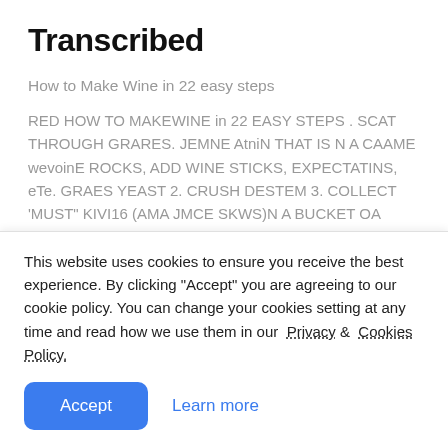Transcribed
How to Make Wine in 22 easy steps
RED HOW TO MAKEWINE in 22 EASY STEPS . SCAT THROUGH GRARES. JEMNE AtniN THAT IS N A CAAME wevoinE ROCKS, ADD WINE STICKS, EXPECTATINS, eTe. GRAES YEAST 2. CRUSH DESTEM 3. COLLECT 'MUST" KIVI16 (AMA JMCE SKWS)N A BUCKET OA STHER LANGE HNING 5. ADD NUTRIENTS DEVICE NUTAIENTE C CAtmi CAN IOET 6 ADD ACID LET t A 7-FERMENT its of TWICE 9.
This website uses cookies to ensure you receive the best experience. By clicking "Accept" you are agreeing to our cookie policy. You can change your cookies setting at any time and read how we use them in our  Privacy &  Cookies Policy.
Accept   Learn more